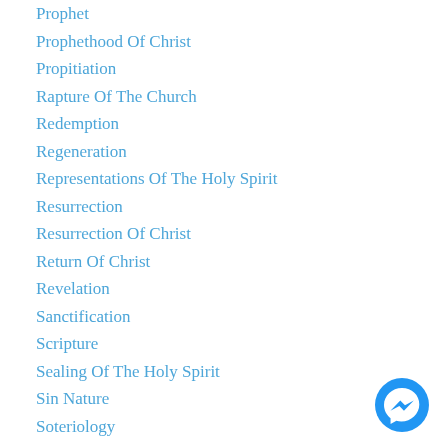Prophet
Prophethood Of Christ
Propitiation
Rapture Of The Church
Redemption
Regeneration
Representations Of The Holy Spirit
Resurrection
Resurrection Of Christ
Return Of Christ
Revelation
Sanctification
Scripture
Sealing Of The Holy Spirit
Sin Nature
Soteriology
Special Revelation
Spiritual Gifts
Substitution
Superintendency
Swoon Theory
[Figure (logo): Facebook Messenger app icon — blue circle with white lightning bolt speech bubble]